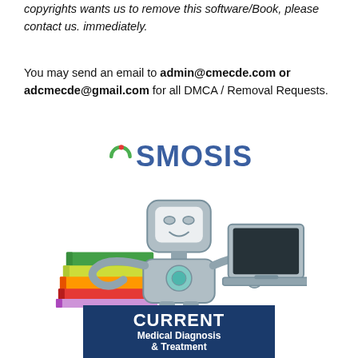copyrights wants us to remove this software/Book, please contact us. immediately.
You may send an email to admin@cmecde.com or adcmecde@gmail.com for all DMCA / Removal Requests.
[Figure (logo): Osmosis logo with a robot mascot holding books and a laptop]
[Figure (illustration): CURRENT Medical Diagnosis & Treatment book cover with dark blue background]